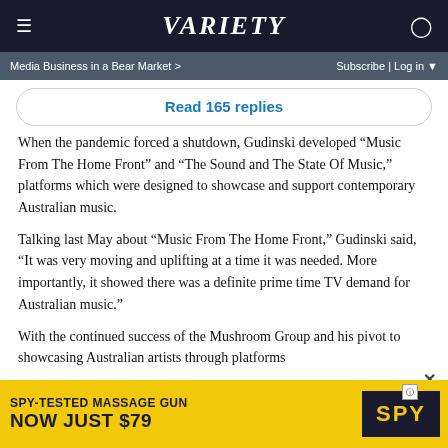VARIETY
Media Business in a Bear Market > Subscribe | Log in
Read 165 replies
When the pandemic forced a shutdown, Gudinski developed “Music From The Home Front” and “The Sound and The State Of Music,” platforms which were designed to showcase and support contemporary Australian music.
Talking last May about “Music From The Home Front,” Gudinski said, “It was very moving and uplifting at a time it was needed. More importantly, it showed there was a definite prime time TV demand for Australian music.”
With the continued success of the Mushroom Group and his pivot to showcasing Australian artists through platforms
[Figure (infographic): Advertisement banner: SPY-TESTED MASSAGE GUN NOW JUST $79, yellow background with SPY logo in dark block]